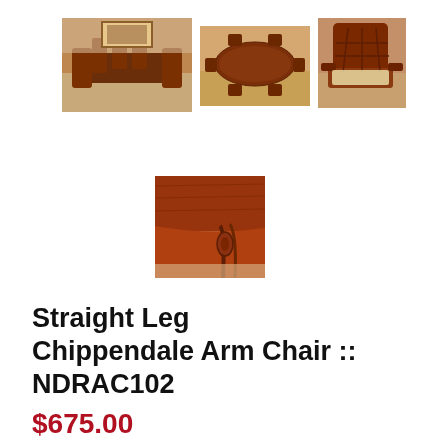[Figure (photo): Three product photos of a Chippendale dining room set arranged in a row: left shows full dining room with chairs around table, center shows oval table top-down view with chairs, right shows close-up of arm chair]
[Figure (photo): Close-up detail photo of the Chippendale chair and table edge showing dark wood grain and ornate leg carving]
Straight Leg Chippendale Arm Chair :: NDRAC102
$675.00